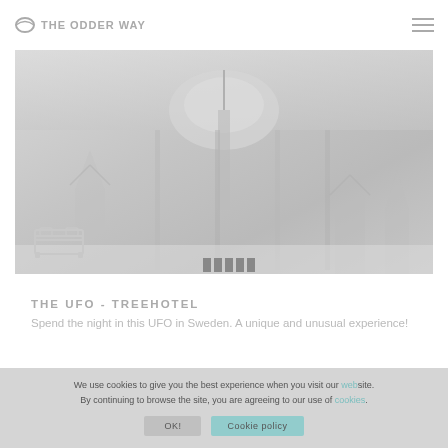OW THE ODDER WAY
[Figure (photo): Interior photo of the UFO Treehotel in Sweden, showing a spherical pod suspended among snowy pine trees, viewed from inside through glass walls. Light gray and misty winter atmosphere.]
THE UFO - TREEHOTEL
Spend the night in this UFO in Sweden. A unique and unusual experience!
We use cookies to give you the best experience when you visit our website. By continuing to browse the site, you are agreeing to our use of cookies.